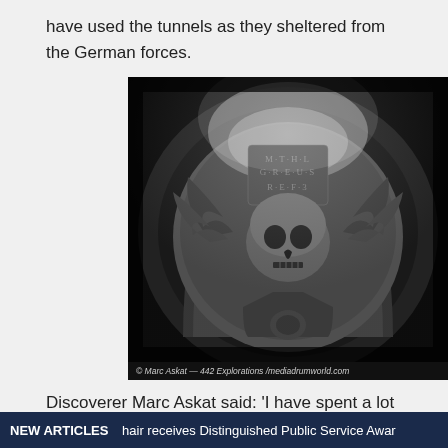have used the tunnels as they sheltered from the German forces.
[Figure (photo): Black and white photograph of a carved stone relief in a tunnel or catacomb, featuring a skull with wings and inscribed text above it, lit dramatically from above. Photo credit: © Marc Askat — 442 Explorations /mediadrumworld.com]
© Marc Askat — 442 Explorations /mediadrumworld.com
Discoverer Marc Askat said: 'I have spent a lot of time
NEW ARTICLES  hair receives Distinguished Public Service Awar